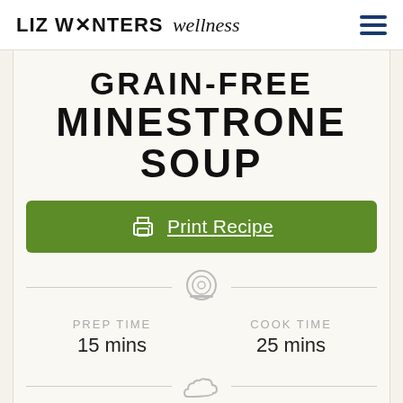LIZ WINTERS wellness
GRAIN-FREE MINESTRONE SOUP
Print Recipe
PREP TIME 15 mins
COOK TIME 25 mins